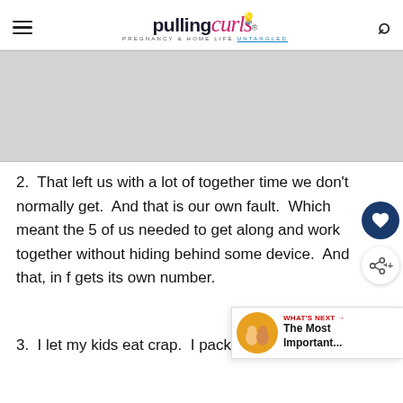pulling curls — PREGNANCY & HOME LIFE UNTANGLED
[Figure (other): Gray advertisement placeholder box]
2.  That left us with a lot of together time we don't normally get.  And that is our own fault.  Which meant the 5 of us needed to get along and work together without hiding behind some device.  And that, in f gets its own number.
3.  I let my kids eat crap.  I packed crap to bring, and